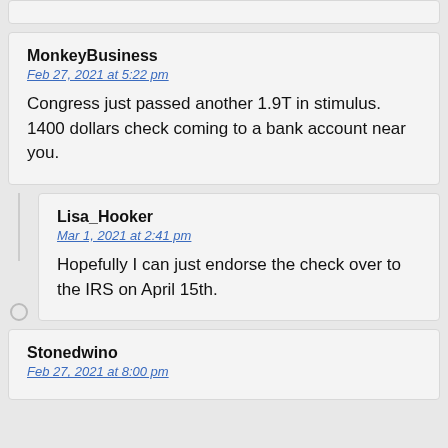(partial comment card at top)
MonkeyBusiness
Feb 27, 2021 at 5:22 pm
Congress just passed another 1.9T in stimulus. 1400 dollars check coming to a bank account near you.
Lisa_Hooker
Mar 1, 2021 at 2:41 pm
Hopefully I can just endorse the check over to the IRS on April 15th.
Stonedwino
Feb 27, 2021 at 8:00 pm